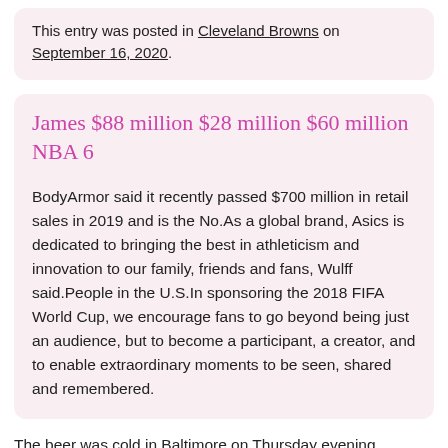This entry was posted in Cleveland Browns on September 16, 2020.
James $88 million $28 million $60 million NBA 6
BodyArmor said it recently passed $700 million in retail sales in 2019 and is the No.As a global brand, Asics is dedicated to bringing the best in athleticism and innovation to our family, friends and fans, Wulff said.People in the U.S.In sponsoring the 2018 FIFA World Cup, we encourage fans to go beyond being just an audience, but to become a participant, a creator, and to enable extraordinary moments to be seen, shared and remembered.
The beer was cold in Baltimore on Thursday evening,